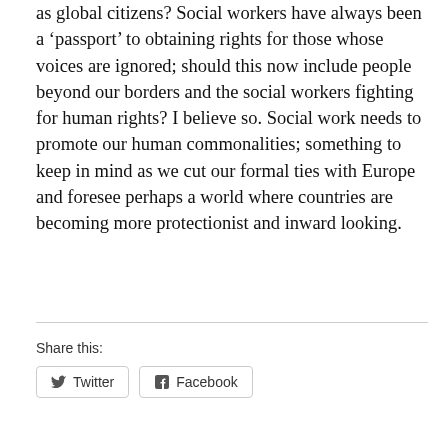as global citizens? Social workers have always been a 'passport' to obtaining rights for those whose voices are ignored; should this now include people beyond our borders and the social workers fighting for human rights? I believe so. Social work needs to promote our human commonalities; something to keep in mind as we cut our formal ties with Europe and foresee perhaps a world where countries are becoming more protectionist and inward looking.
Share this:
[Figure (other): Social share buttons for Twitter and Facebook]